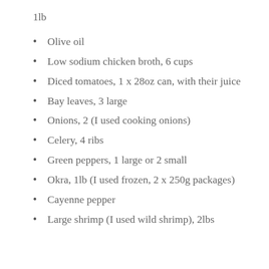1lb
Olive oil
Low sodium chicken broth, 6 cups
Diced tomatoes, 1 x 28oz can, with their juice
Bay leaves, 3 large
Onions, 2 (I used cooking onions)
Celery, 4 ribs
Green peppers, 1 large or 2 small
Okra, 1lb (I used frozen, 2 x 250g packages)
Cayenne pepper
Large shrimp (I used wild shrimp), 2lbs